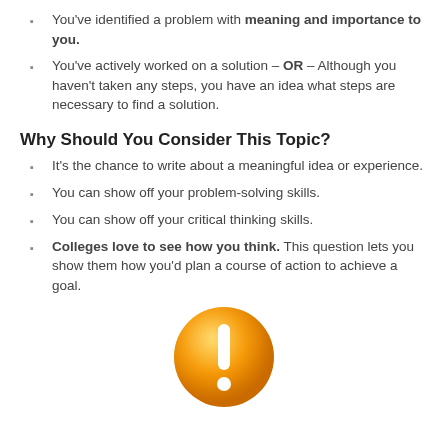You've identified a problem with meaning and importance to you.
You've actively worked on a solution – OR – Although you haven't taken any steps, you have an idea what steps are necessary to find a solution.
Why Should You Consider This Topic?
It's the chance to write about a meaningful idea or experience.
You can show off your problem-solving skills.
You can show off your critical thinking skills.
Colleges love to see how you think. This question lets you show them how you'd plan a course of action to achieve a goal.
[Figure (illustration): Orange exclamation mark icon — a round orange circle with a white exclamation mark in the center]